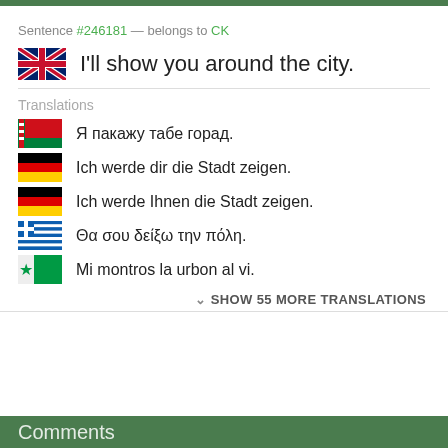Sentence #246181 — belongs to CK
I'll show you around the city.
Translations
Я пакажу табе горад.
Ich werde dir die Stadt zeigen.
Ich werde Ihnen die Stadt zeigen.
Θα σου δείξω την πόλη.
Mi montros la urbon al vi.
SHOW 55 MORE TRANSLATIONS
Comments